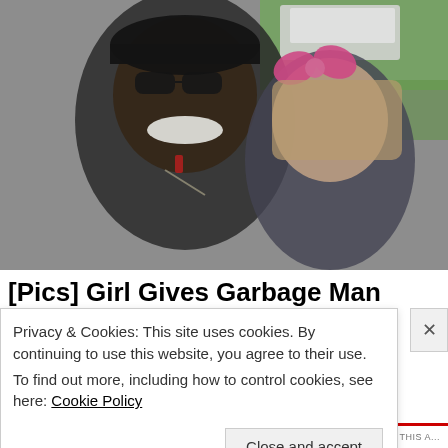[Figure (photo): A smiling man wearing sunglasses and a black cap posing with a young girl with a pink bow in her hair, outdoors near a white vehicle with green grass in the background.]
[Pics] Girl Gives Garbage Man Cupcake Every
Privacy & Cookies: This site uses cookies. By continuing to use this website, you agree to their use.
To find out more, including how to control cookies, see here: Cookie Policy
Close and accept